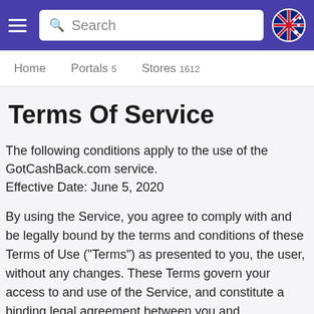Search
Home   Portals 5   Stores 1612
Terms Of Service
The following conditions apply to the use of the GotCashBack.com service.
Effective Date: June 5, 2020
By using the Service, you agree to comply with and be legally bound by the terms and conditions of these Terms of Use ("Terms") as presented to you, the user, without any changes. These Terms govern your access to and use of the Service, and constitute a binding legal agreement between you and GotCashBack.com. If you do not agree to these terms, please do not use the Service. Your agreement with us regarding